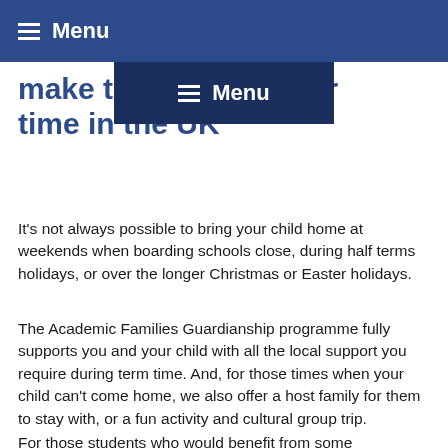Menu
make the most of their time in the UK
It's not always possible to bring your child home at weekends when boarding schools close, during half terms holidays, or over the longer Christmas or Easter holidays.
The Academic Families Guardianship programme fully supports you and your child with all the local support you require during term time. And, for those times when your child can't come home, we also offer a host family for them to stay with, or a fun activity and cultural group trip.
For those students who would benefit from some